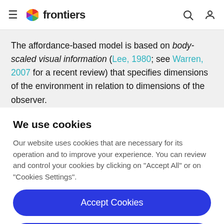frontiers
The affordance-based model is based on body-scaled visual information (Lee, 1980; see Warren, 2007 for a recent review) that specifies dimensions of the environment in relation to dimensions of the observer.
We use cookies
Our website uses cookies that are necessary for its operation and to improve your experience. You can review and control your cookies by clicking on "Accept All" or on "Cookies Settings".
Accept Cookies
Cookies Settings